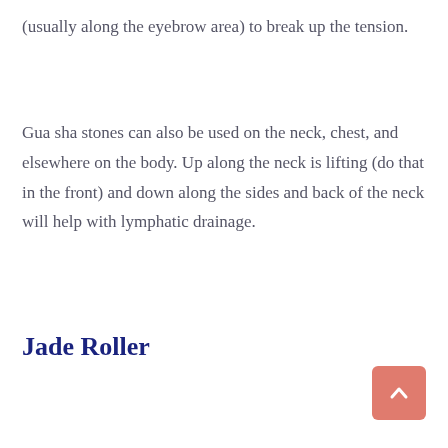(usually along the eyebrow area) to break up the tension.
Gua sha stones can also be used on the neck, chest, and elsewhere on the body. Up along the neck is lifting (do that in the front) and down along the sides and back of the neck will help with lymphatic drainage.
Jade Roller